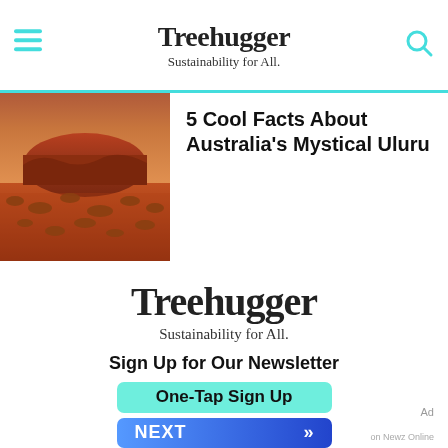Treehugger — Sustainability for All.
[Figure (photo): Photograph of Uluru (Ayers Rock) in Australia — large red sandstone monolith with red desert landscape and spinifex grass under a dusk sky]
5 Cool Facts About Australia's Mystical Uluru
[Figure (logo): Treehugger logo — Sustainability for All.]
Sign Up for Our Newsletter
One-Tap Sign Up
NEXT